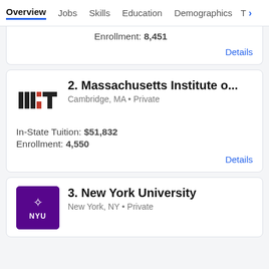Overview  Jobs  Skills  Education  Demographics  T>
Enrollment: 8,451
Details
2. Massachusetts Institute o...
Cambridge, MA • Private
In-State Tuition: $51,832
Enrollment: 4,550
Details
3. New York University
New York, NY • Private